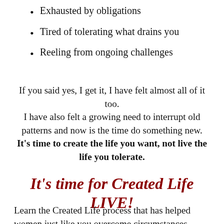Exhausted by obligations
Tired of tolerating what drains you
Reeling from ongoing challenges
If you said yes, I get it, I have felt almost all of it too.
I have also felt a growing need to interrupt old patterns and now is the time do something new. It's time to create the life you want, not live the life you tolerate.
It's time for Created Life LIVE!
Learn the Created Life process that has helped women just like you overcome circumstances